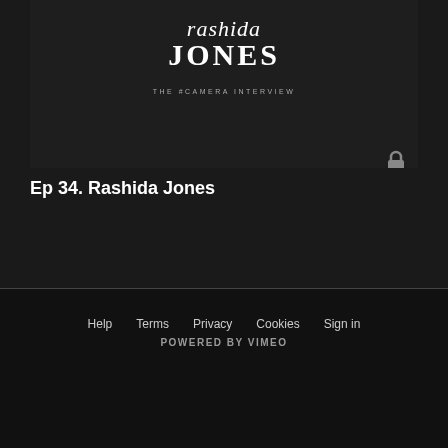[Figure (screenshot): Dark video thumbnail showing 'rashida JONES THE #CAMERA INTERVIEW' text logo on dark background with a lock icon in the bottom right corner]
Ep 34. Rashida Jones
Help   Terms   Privacy   Cookies   Sign in
POWERED BY VIMEO